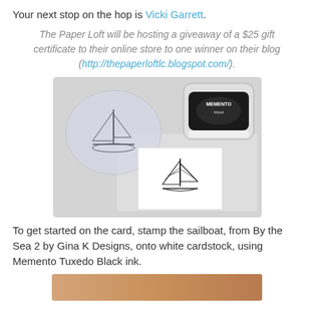Your next stop on the hop is Vicki Garrett.
The Paper Loft will be hosting a giveaway of a $25 gift certificate to their online store to one winner on their blog (http://thepaperloftlc.blogspot.com/).
[Figure (photo): Photo of a clear rubber stamp with sailboat design, a Memento ink pad (black), and a stamped image of a sailboat on white cardstock, all on a light grey surface.]
To get started on the card, stamp the sailboat, from By the Sea 2 by Gina K Designs, onto white cardstock, using Memento Tuxedo Black ink.
[Figure (photo): Partial view of another photo (bottom, cropped).]